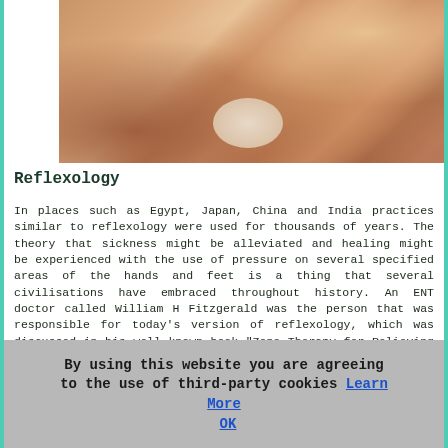[Figure (photo): A person receiving a foot massage/reflexology treatment, with hands pressing on feet, a white rolled towel visible in the background.]
Reflexology
In places such as Egypt, Japan, China and India practices similar to reflexology were used for thousands of years. The theory that sickness might be alleviated and healing might be experienced with the use of pressure on several specified areas of the hands and feet is a thing that several civilisations have embraced throughout history. An ENT doctor called William H Fitzgerald was the person that was responsible for today's version of reflexology, which was discussed in his well known book "Zone Therapy for Relieving Pain in the Home" released in nineteen seventeen. During the 1930's a physio called Eunice Ingham (1889 - 1974) further developed his hypotheses.
By using this website you are agreeing to the use of third-party cookies Learn More  OK